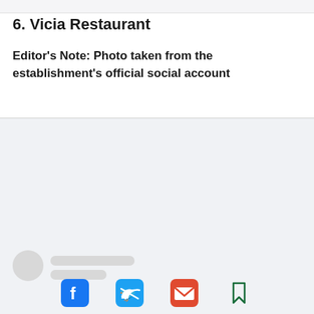6. Vicia Restaurant
Editor's Note: Photo taken from the establishment's official social account
[Figure (screenshot): Social media post placeholder with avatar circle and skeleton lines, followed by an Instagram icon, explore button, social share icons (Facebook, Twitter, email, bookmark), and a blue phone call button]
Explore St. Louis - Northeast Missouri